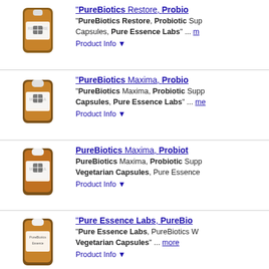[Figure (photo): Bottle of PureBiotics Restore supplement with orange label]
"PureBiotics Restore, Probiotic Supplement Capsules, Pure Essence Labs" ... more
Product Info ▼
[Figure (photo): Bottle of PureBiotics Maxima supplement with orange label]
"PureBiotics Maxima, Probiotic Supplement Capsules, Pure Essence Labs" ... more
Product Info ▼
[Figure (photo): Bottle of PureBiotics Maxima supplement with orange label]
PureBiotics Maxima, Probiotic Supplement Vegetarian Capsules, Pure Essence
Product Info ▼
[Figure (photo): Bottle of Pure Essence Labs PureBiotics supplement with orange label]
"Pure Essence Labs, PureBiotics W Vegetarian Capsules" ... more
Product Info ▼
[Figure (photo): Bottle of PureBiotics Restore supplement with orange label]
PureBiotics Restore, Probiotic Supplement Capsules, Pure Essence Labs ... more
Product Info ▼
[Figure (photo): Bottle of PureBiotics Probiotics supplement with orange label]
PureBiotics Probiotics for W